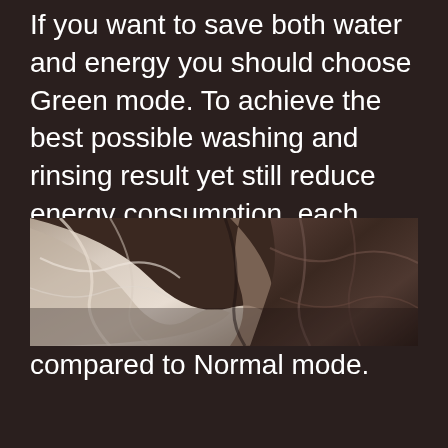If you want to save both water and energy you should choose Green mode. To achieve the best possible washing and rinsing result yet still reduce energy consumption, each stage in the programme is prolonged. Total programme time will thus be longer compared to Normal mode.
[Figure (photo): Close-up photograph of crumpled fabric showing light-colored (silvery/white) cloth on the left and dark brown/charcoal fabric on the right, in sepia-toned black and white style.]